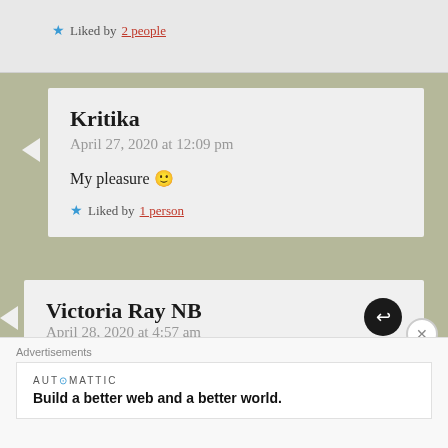★ Liked by 2 people
Kritika
April 27, 2020 at 12:09 pm

My pleasure 🙂

★ Liked by 1 person
Victoria Ray NB
April 28, 2020 at 4:57 am

Wonderful! Enjoyed 🌟🌟🌟🌟🌟
Advertisements
AUTOMATTIC
Build a better web and a better world.